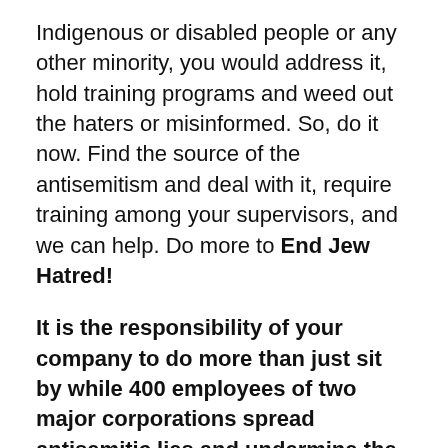Indigenous or disabled people or any other minority, you would address it, hold training programs and weed out the haters or misinformed. So, do it now. Find the source of the antisemitism and deal with it, require training among your supervisors, and we can help. Do more to End Jew Hatred!
It is the responsibility of your company to do more than just sit by while 400 employees of two major corporations spread antisemitic lies and undermine the values of your company, and threaten your relations with other countries, peoples and the world at large. No one benefits from such ignorance and hatred.